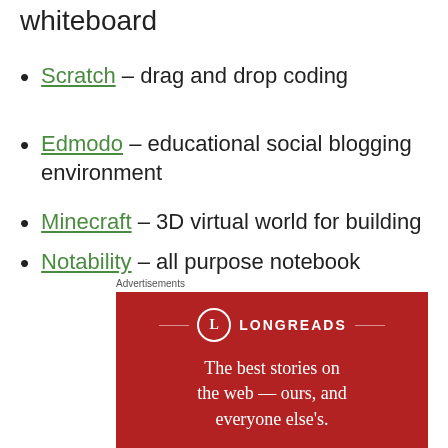whiteboard
Scratch – drag and drop coding
Edmodo – educational social blogging environment
Minecraft – 3D virtual world for building
Notability – all purpose notebook
Advertisements
[Figure (other): Longreads advertisement banner with red background showing logo and tagline: The best stories on the web — ours, and everyone else's.]